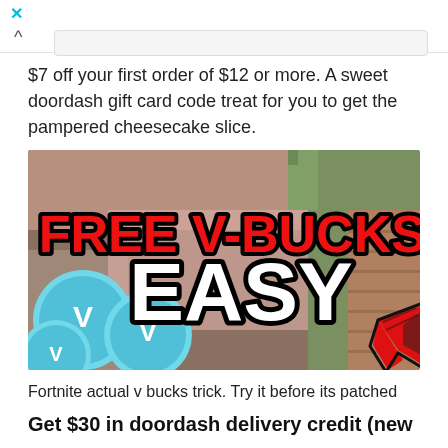$7 off your first order of $12 or more. A sweet doordash gift card code treat for you to get the pampered cheesecake slice.
[Figure (screenshot): Screenshot of a YouTube thumbnail showing 'FREE V-BUCKS! EASY' text with Fortnite V-bucks coins and a red arrow cursor, against a game background.]
Fortnite actual v bucks trick. Try it before its patched
Get $30 in doordash delivery credit (new